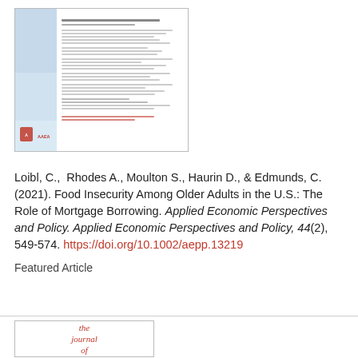[Figure (other): Thumbnail image of an AAEA journal cover with blue sidebar and text columns on right side]
Loibl, C.,  Rhodes A., Moulton S., Haurin D., & Edmunds, C. (2021). Food Insecurity Among Older Adults in the U.S.: The Role of Mortgage Borrowing. Applied Economic Perspectives and Policy. Applied Economic Perspectives and Policy, 44(2), 549-574. https://doi.org/10.1002/aepp.13219
Featured Article
[Figure (other): Bottom portion of 'the journal of' text in red italic serif font on white background with border]